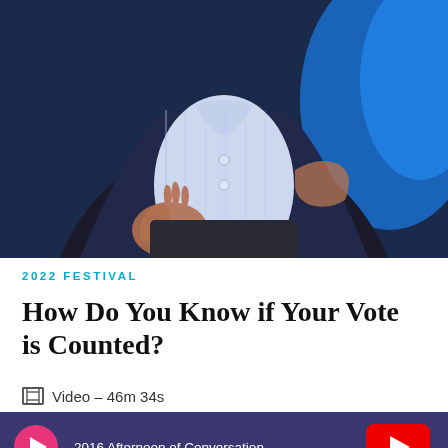[Figure (photo): Photo of a man in a dark suit with light blue checked shirt, sitting and gesturing with hands, blue background]
2022 FESTIVAL
How Do You Know if Your Vote is Counted?
Video – 46m 34s
2016 Afternoon of Conversation